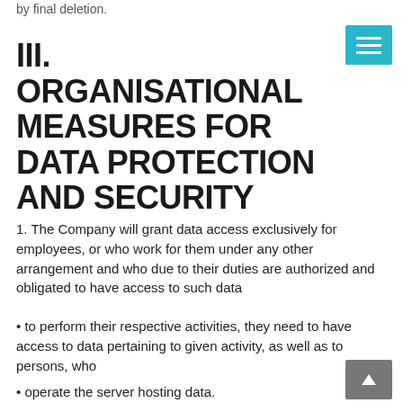by final deletion.
III. ORGANISATIONAL MEASURES FOR DATA PROTECTION AND SECURITY
1. The Company will grant data access exclusively for employees, or who work for them under any other arrangement and who due to their duties are authorized and obligated to have access to such data
• to perform their respective activities, they need to have access to data pertaining to given activity, as well as to persons, who
• operate the server hosting data.
2. Persons specified under Section I (8) of this data privacy policy are obligated to take all expectable measures to ensure data security.